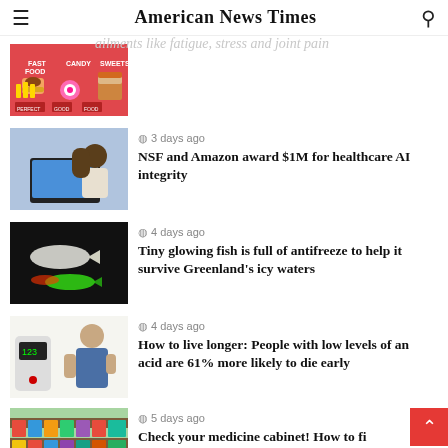American News Times
al foods for tackling common ailments like fatigue, stress and joint pain
[Figure (photo): Thumbnail showing fast food, candy, sweets icons on pink background]
3 days ago
NSF and Amazon award $1M for healthcare AI integrity
[Figure (photo): Person working at laptop computer]
4 days ago
Tiny glowing fish is full of antifreeze to help it survive Greenland's icy waters
[Figure (photo): Glowing fish in dark water]
4 days ago
How to live longer: People with low levels of an acid are 61% more likely to die early
[Figure (photo): Blood glucose test and man checking health]
5 days ago
Check your medicine cabinet! How to find recalled drugs
[Figure (photo): Medicine shelves with packaged products]
6 days ago
[Figure (photo): Partial photo of outdoor scene]